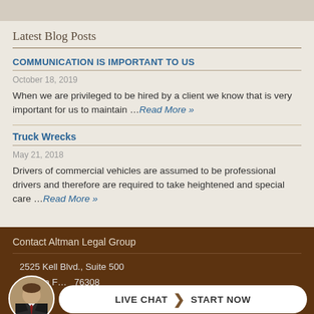Latest Blog Posts
COMMUNICATION IS IMPORTANT TO US
October 18, 2019
When we are privileged to be hired by a client we know that is very important for us to maintain …Read More »
Truck Wrecks
May 21, 2018
Drivers of commercial vehicles are assumed to be professional drivers and therefore are required to take heightened and special care …Read More »
Contact Altman Legal Group
2525 Kell Blvd., Suite 500
Wichita F... 76308
[Figure (photo): Circular avatar photo of a man in a suit with a red tie]